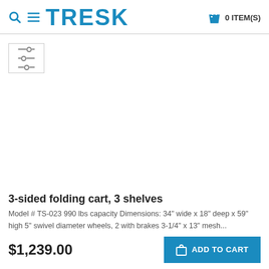TRESK — 0 ITEM(S)
[Figure (logo): TRESK e-commerce website header with search icon, menu icon, TRESK logo in blue, shopping bag icon and 0 ITEM(S) text]
[Figure (other): Filter/sort icon button in a bordered box — three horizontal lines with adjustment knobs]
[Figure (photo): Product image area — white/blank background where product photo would appear]
3-sided folding cart, 3 shelves
Model # TS-023 990 lbs capacity Dimensions: 34" wide x 18" deep x 59" high 5" swivel diameter wheels, 2 with brakes 3-1/4" x 13" mesh...
$1,239.00
ADD TO CART